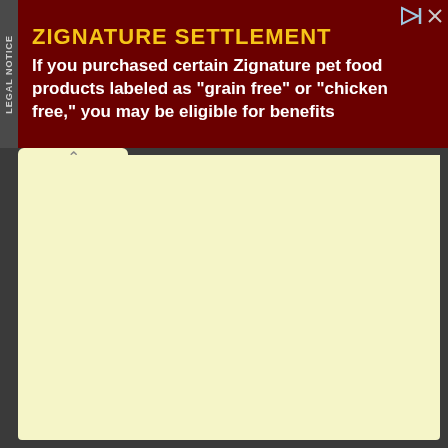[Figure (screenshot): Legal notice advertisement banner for Zignature Settlement class action. Dark red background with yellow title 'ZIGNATURE SETTLEMENT' and white body text stating: 'If you purchased certain Zignature pet food products labeled as "grain free" or "chicken free," you may be eligible for benefits'. Vertical 'LEGAL NOTICE' label on left sidebar. Close and skip icons top right.]
[Figure (screenshot): Large cream/pale yellow sticky note or notepad area below the advertisement banner, with a tab/flap at the top left showing a chevron/caret symbol. The note area is blank.]